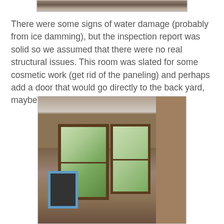[Figure (photo): Top portion of a photo showing what appears to be a roof or exterior area with water damage signs, partially visible at the top of the page]
There were some signs of water damage (probably from ice damming), but the inspection report was solid so we assumed that there were no real structural issues. This room was slated for some cosmetic work (get rid of the paneling) and perhaps add a door that would go directly to the back yard, maybe onto a deck.
[Figure (photo): Interior room photo showing wood-paneled walls with multiple double-hung windows, a white ceiling, and various items including a blue-framed object on the floor. The room appears to be under renovation.]